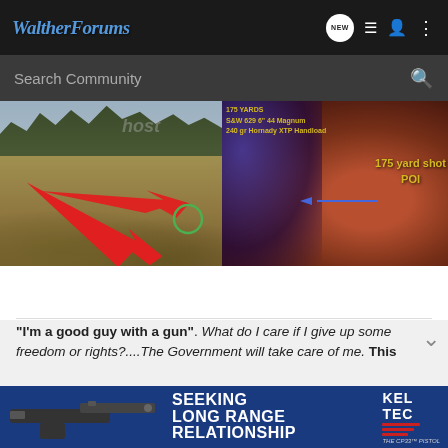WaltherForums
Search Community
[Figure (photo): Two side-by-side photos: left shows a field with a red arrow pointing to a green circle on the ground; right shows a close-up of what appears to be an animal with text '175 YARDS S&W 629 6" 44 Magnum 240 gr Hornady XTP Handload' and '175 yard shot POI' with a blue arrow]
"I'm a good guy with a gun". What do I care if I give up some freedom or rights?....The Government will take care of me. This
goforbroke2, DeutschlandUberAlles and Dukes4aces
[Figure (photo): Advertisement banner for Kel-Tec CP33 pistol with text 'SEEKING LONG RANGE RELATIONSHIP']